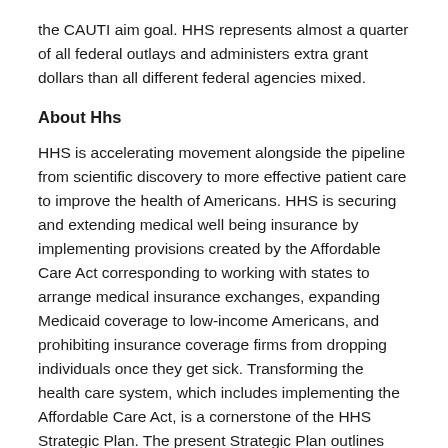the CAUTI aim goal. HHS represents almost a quarter of all federal outlays and administers extra grant dollars than all different federal agencies mixed.
About Hhs
HHS is accelerating movement alongside the pipeline from scientific discovery to more effective patient care to improve the health of Americans. HHS is securing and extending medical well being insurance by implementing provisions created by the Affordable Care Act corresponding to working with states to arrange medical insurance exchanges, expanding Medicaid coverage to low-income Americans, and prohibiting insurance coverage firms from dropping individuals once they get sick. Transforming the health care system, which includes implementing the Affordable Care Act, is a cornerstone of the HHS Strategic Plan. The present Strategic Plan outlines HHS's primary aims and performance measures to observe our progress. The Department of Health and Human Services protects the well being of all Americans and